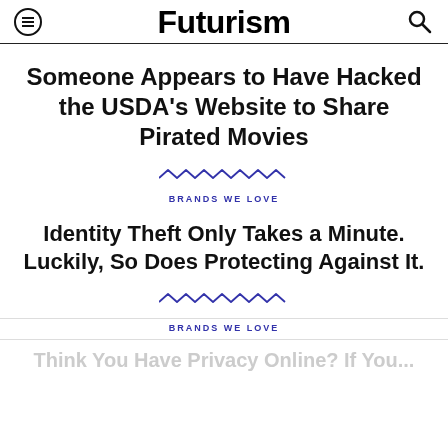Futurism
Someone Appears to Have Hacked the USDA's Website to Share Pirated Movies
[Figure (other): Wavy zigzag decorative divider line in blue]
BRANDS WE LOVE
Identity Theft Only Takes a Minute. Luckily, So Does Protecting Against It.
[Figure (other): Wavy zigzag decorative divider line in blue]
BRANDS WE LOVE
Think You Have Privacy Online? If You...